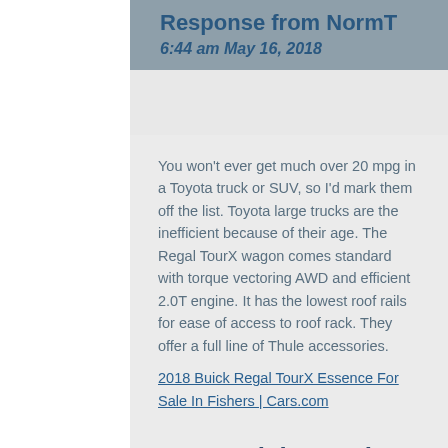Response from NormT
6:44 am May 16, 2018
You won't ever get much over 20 mpg in a Toyota truck or SUV, so I'd mark them off the list. Toyota large trucks are the inefficient because of their age. The Regal TourX wagon comes standard with torque vectoring AWD and efficient 2.0T engine. It has the lowest roof rails for ease of access to roof rack. They offer a full line of Thule accessories.
2018 Buick Regal TourX Essence For Sale In Fishers | Cars.com
2018 Buick Regal TourX Essence For Sale In Fishers | Cars.com